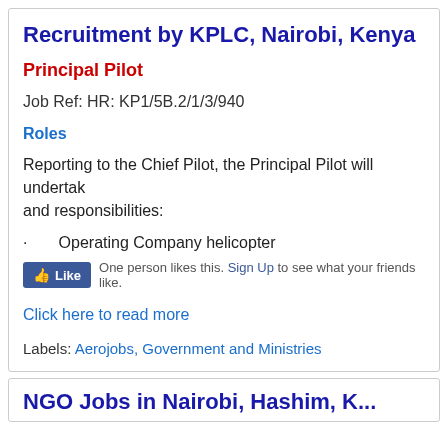Recruitment by KPLC, Nairobi, Kenya
Principal Pilot
Job Ref: HR: KP1/5B.2/1/3/940
Roles
Reporting to the Chief Pilot, the Principal Pilot will undertake and responsibilities:
Operating Company helicopter
One person likes this. Sign Up to see what your friends like.
Click here to read more
Labels: Aerojobs, Government and Ministries
NGO Jobs in Nairobi, Hashim, K...